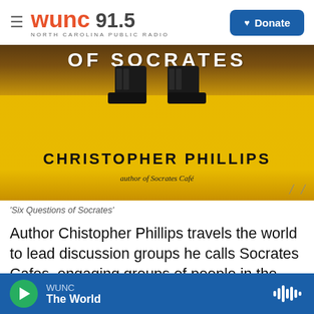WUNC 91.5 NORTH CAROLINA PUBLIC RADIO — Donate
[Figure (photo): Book cover of 'Six Questions of Socrates' by Christopher Phillips, author of Socrates Cafe. Yellow background with dark boots at top and large bold title text.]
'Six Questions of Socrates'
Author Chistopher Phillips travels the world to lead discussion groups he calls Socrates Cafes, engaging groups of people in the manner of the
WUNC — The World